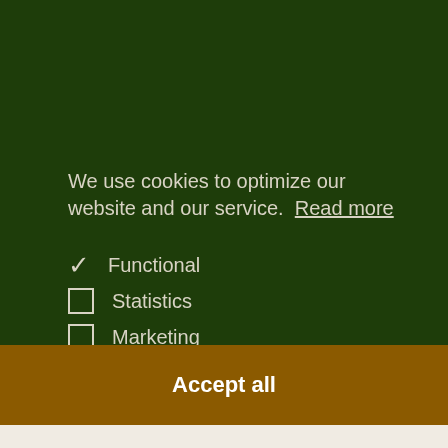We use cookies to optimize our website and our service.  Read more
✓ Functional
☐ Statistics
☐ Marketing
Accept all
Save preferences